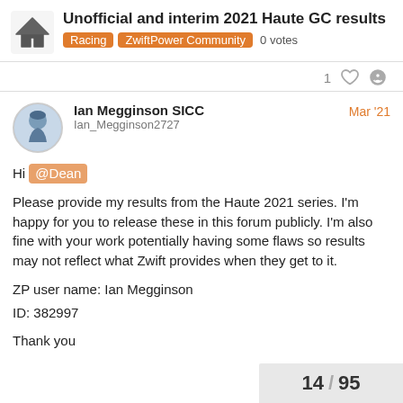Unofficial and interim 2021 Haute GC results
Racing ▪ ZwiftPower Community   0 votes
1 ♡ 🔗
Ian Megginson SICC
Ian_Megginson2727
Mar '21
Hi @Dean

Please provide my results from the Haute 2021 series. I'm happy for you to release these in this forum publicly. I'm also fine with your work potentially having some flaws so results may not reflect what Zwift provides when they get to it.

ZP user name: Ian Megginson
ID: 382997

Thank you
14 / 95